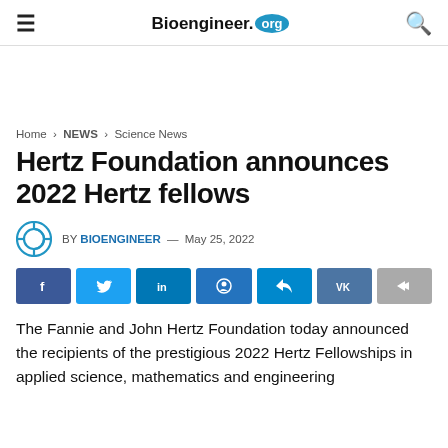Bioengineer.org
Home > NEWS > Science News
Hertz Foundation announces 2022 Hertz fellows
BY BIOENGINEER — May 25, 2022
[Figure (infographic): Social share buttons row: Facebook, Twitter, LinkedIn, Reddit, Telegram, VK, Forward]
The Fannie and John Hertz Foundation today announced the recipients of the prestigious 2022 Hertz Fellowships in applied science, mathematics and engineering